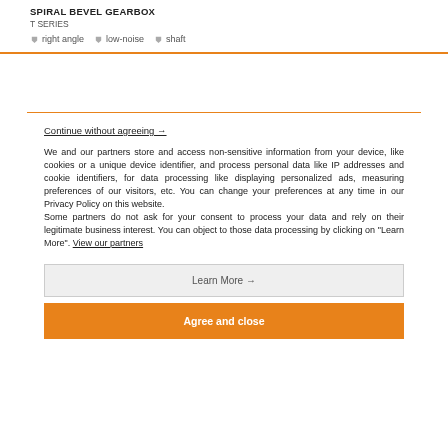SPIRAL BEVEL GEARBOX
T SERIES
right angle  low-noise  shaft
Continue without agreeing →
We and our partners store and access non-sensitive information from your device, like cookies or a unique device identifier, and process personal data like IP addresses and cookie identifiers, for data processing like displaying personalized ads, measuring preferences of our visitors, etc. You can change your preferences at any time in our Privacy Policy on this website.
Some partners do not ask for your consent to process your data and rely on their legitimate business interest. You can object to those data processing by clicking on "Learn More". View our partners
Learn More →
Agree and close